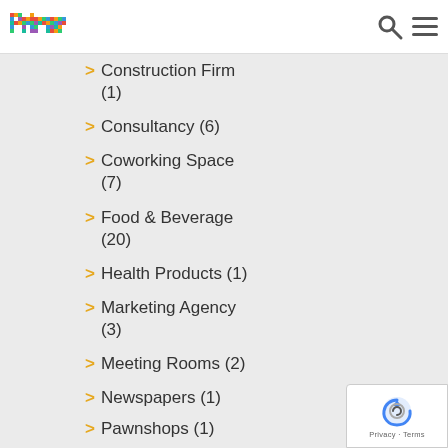primer
Construction Firm (1)
Consultancy (6)
Coworking Space (7)
Food & Beverage (20)
Health Products (1)
Marketing Agency (3)
Meeting Rooms (2)
Newspapers (1)
Pawnshops (1)
Payment Processing (1)
Private Office (4)
Real Estate